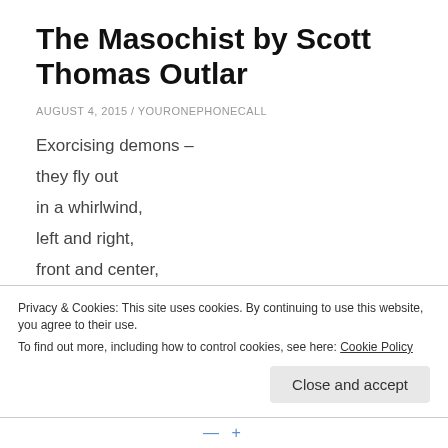The Masochist by Scott Thomas Outlar
AUGUST 4, 2015 / YOURONEPHONECALL
Exorcising demons –
they fly out
in a whirlwind,
left and right,
front and center,
here and then gone
in the blink of an eye.
Privacy & Cookies: This site uses cookies. By continuing to use this website, you agree to their use.
To find out more, including how to control cookies, see here: Cookie Policy
Close and accept